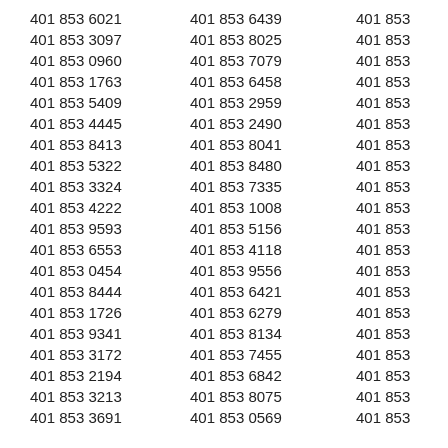401 853 6021   401 853 6439   401 853 [truncated]
401 853 3097   401 853 8025   401 853 [truncated]
401 853 0960   401 853 7079   401 853 [truncated]
401 853 1763   401 853 6458   401 853 [truncated]
401 853 5409   401 853 2959   401 853 [truncated]
401 853 4445   401 853 2490   401 853 [truncated]
401 853 8413   401 853 8041   401 853 [truncated]
401 853 5322   401 853 8480   401 853 [truncated]
401 853 3324   401 853 7335   401 853 [truncated]
401 853 4222   401 853 1008   401 853 [truncated]
401 853 9593   401 853 5156   401 853 [truncated]
401 853 6553   401 853 4118   401 853 [truncated]
401 853 0454   401 853 9556   401 853 [truncated]
401 853 8444   401 853 6421   401 853 [truncated]
401 853 1726   401 853 6279   401 853 [truncated]
401 853 9341   401 853 8134   401 853 [truncated]
401 853 3172   401 853 7455   401 853 [truncated]
401 853 2194   401 853 6842   401 853 [truncated]
401 853 3213   401 853 8075   401 853 [truncated]
401 853 3691   401 853 0569   401 853 [truncated]